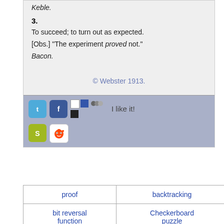Keble.
3.
To succeed; to turn out as expected.
[Obs.] "The experiment proved not."
Bacon.
© Webster 1913.
[Figure (other): Social sharing buttons: Twitter, Facebook, color squares, group icon, StumbleUpon, Reddit, and 'I like it!' text]
| proof | backtracking | Freecell | Self-love |
| --- | --- | --- | --- |
| bit reversal function | Checkerboard puzzle | Tetris puzzle | undecidable |
| Baking |  | Putting | Even |